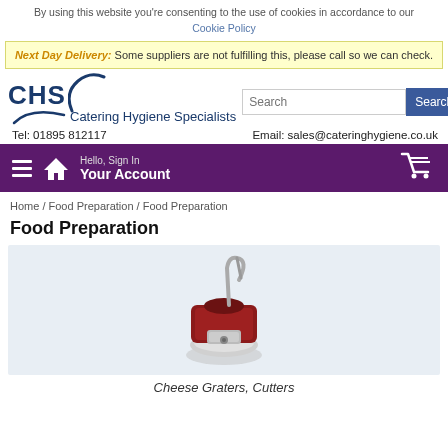By using this website you're consenting to the use of cookies in accordance to our Cookie Policy
Next Day Delivery: Some suppliers are not fulfilling this, please call so we can check.
[Figure (logo): CHS Catering Hygiene Specialists logo with arc swoosh]
Tel: 01895 812117   Email: sales@cateringhygiene.co.uk
Hello, Sign In / Your Account
Home / Food Preparation / Food Preparation
Food Preparation
[Figure (photo): Red cheese grater/cutter machine on light blue background]
Cheese Graters, Cutters